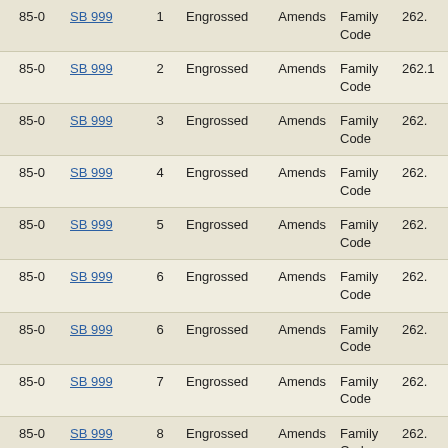|  | Bill | Section | Status | Action | Code | Section No. |
| --- | --- | --- | --- | --- | --- | --- |
| 85-0 | SB 999 | 1 | Engrossed | Amends | Family Code | 262. |
| 85-0 | SB 999 | 2 | Engrossed | Amends | Family Code | 262.1 |
| 85-0 | SB 999 | 3 | Engrossed | Amends | Family Code | 262. |
| 85-0 | SB 999 | 4 | Engrossed | Amends | Family Code | 262. |
| 85-0 | SB 999 | 5 | Engrossed | Amends | Family Code | 262. |
| 85-0 | SB 999 | 6 | Engrossed | Amends | Family Code | 262. |
| 85-0 | SB 999 | 6 | Engrossed | Amends | Family Code | 262. |
| 85-0 | SB 999 | 7 | Engrossed | Amends | Family Code | 262. |
| 85-0 | SB 999 | 8 | Engrossed | Amends | Family Code | 262. |
| 85-0 | SB 999 | 9 | Engrossed | Adds | Family Code | 262.1 |